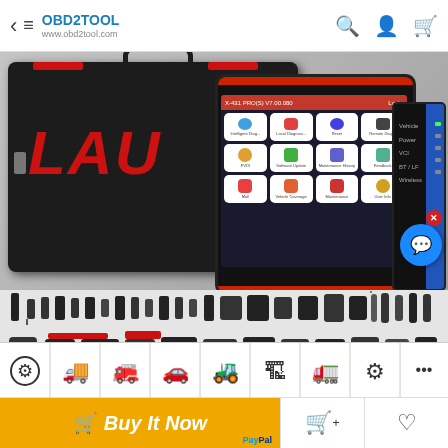OBD2TOOL www.obd2tool.com
[Figure (photo): Product photo of LAUNCH X-431 PRO diagnostic scanner tool set including carry case, 10-inch tablet, VCI device, OBD cables, and connectors on grey background]
[Figure (infographic): Row of vehicle type icons: engine, tow truck, fire truck, car, tractor, excavator, semi-truck, settings gear, and more options dots]
Buy It Now
PayPal